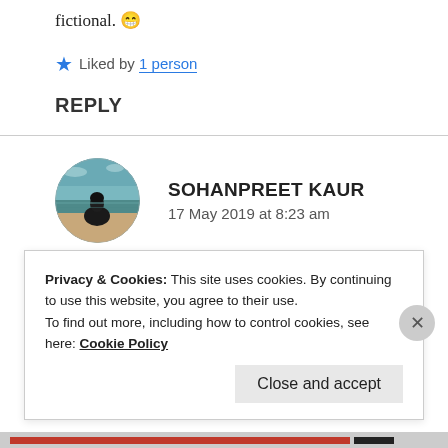fictional. 😄
Liked by 1 person
REPLY
[Figure (photo): Circular avatar photo of a person sitting on a beach, viewed from behind, with ocean and sky in background. Teal/muted color tones.]
SOHANPREET KAUR
17 May 2019 at 8:23 am
Ohh !
Privacy & Cookies: This site uses cookies. By continuing to use this website, you agree to their use.
To find out more, including how to control cookies, see here: Cookie Policy
Close and accept